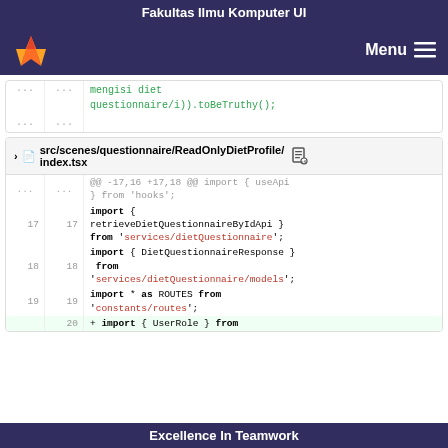Fakultas Ilmu Komputer UI
[Figure (screenshot): GitLab navigation bar with fox logo and Menu button]
mengisi diet questionnaire/i)).toBeTruthy();
src/scenes/questionnaire/ReadOnlyDietProfile/index.tsx
@@ -17,16 +17,18 @@ import { useApi } from 'hooks';
17  17  import { retrieveDietQuestionnaireByIdApi } from 'services/dietQuestionnaire';
18  18  import { DietQuestionnaireResponse } from 'services/dietQuestionnaire/models';
19  19  import * as ROUTES from 'constants/routes';
    20  + import { UserRole } from
Excellence In Teamwork